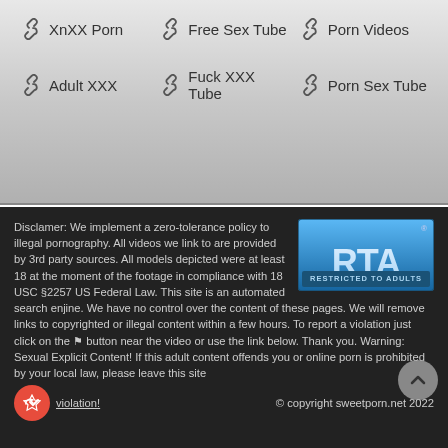🔗 XnXX Porn   🔗 Free Sex Tube   🔗 Porn Videos
🔗 Adult XXX   🔗 Fuck XXX Tube   🔗 Porn Sex Tube
[Figure (logo): RTA Restricted To Adults badge logo]
Disclamer: We implement a zero-tolerance policy to illegal pornography. All videos we link to are provided by 3rd party sources. All models depicted were at least 18 at the moment of the footage in compliance with 18 USC §2257 US Federal Law. This site is an automated search enjine. We have no control over the content of these pages. We will remove links to copyrighted or illegal content within a few hours. To report a violation just click on the ⚑ button near the video or use the link below. Thank you. Warning: Sexual Explicit Content! If this adult content offends you or online porn is prohibited by your local law, please leave this site
Report violation!
© copyright sweetporn.net 2022